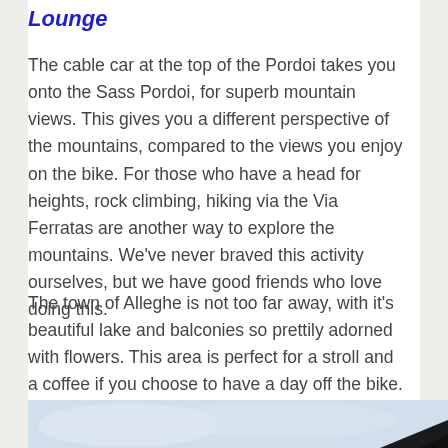Lounge
The cable car at the top of the Pordoi takes you onto the Sass Pordoi, for superb mountain views. This gives you a different perspective of the mountains, compared to the views you enjoy on the bike. For those who have a head for heights, rock climbing, hiking via the Via Ferratas are another way to explore the mountains. We've never braved this activity ourselves, but we have good friends who love doing this.
The town of Alleghe is not too far away, with it's beautiful lake and balconies so prettily adorned with flowers. This area is perfect for a stroll and a coffee if you choose to have a day off the bike.
[Figure (photo): Mountain landscape photo with sky and dark silhouette of mountain ridge at the bottom right]